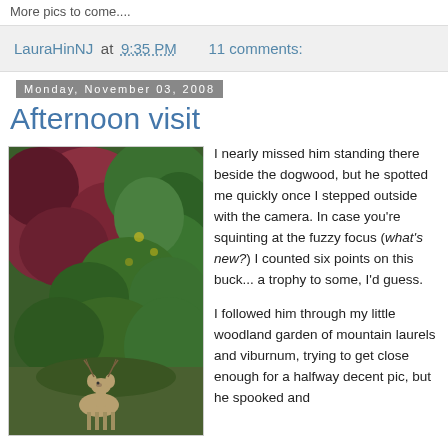More pics to come....
LauraHinNJ at 9:35 PM   11 comments:
Monday, November 03, 2008
Afternoon visit
[Figure (photo): A deer (buck) standing among trees with red and green leaves, looking toward the camera in a woodland garden.]
I nearly missed him standing there beside the dogwood, but he spotted me quickly once I stepped outside with the camera. In case you're squinting at the fuzzy focus (what's new?) I counted six points on this buck... a trophy to some, I'd guess.

I followed him through my little woodland garden of mountain laurels and viburnum, trying to get close enough for a halfway decent pic, but he spooked and